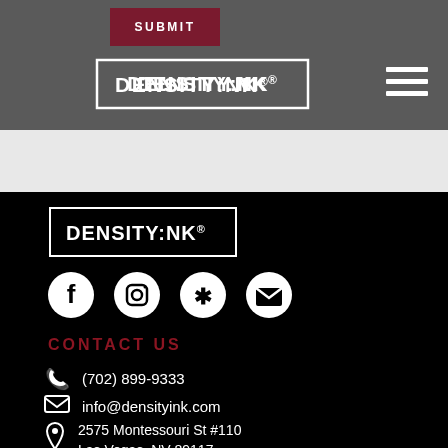[Figure (logo): DENSITY:INK logo in header bar, white text with border on grey background]
[Figure (logo): DENSITY:INK logo in footer, white text with border on black background]
[Figure (infographic): Social media icons row: Facebook, Instagram, Yelp, Email icons in white circles]
CONTACT US
(702) 899-9333
info@densityink.com
2575 Montessouri St #110 Las Vegas, NV 89117